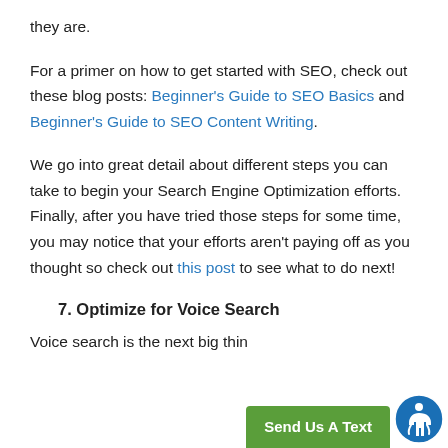they are.
For a primer on how to get started with SEO, check out these blog posts: Beginner's Guide to SEO Basics and Beginner's Guide to SEO Content Writing.
We go into great detail about different steps you can take to begin your Search Engine Optimization efforts. Finally, after you have tried those steps for some time, you may notice that your efforts aren't paying off as you thought so check out this post to see what to do next!
7. Optimize for Voice Search
Voice search is the next big thin...dy